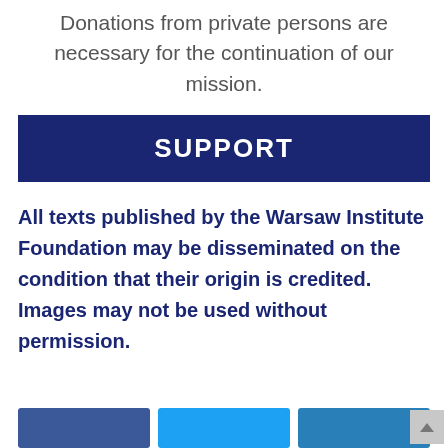Donations from private persons are necessary for the continuation of our mission.
SUPPORT
All texts published by the Warsaw Institute Foundation may be disseminated on the condition that their origin is credited. Images may not be used without permission.